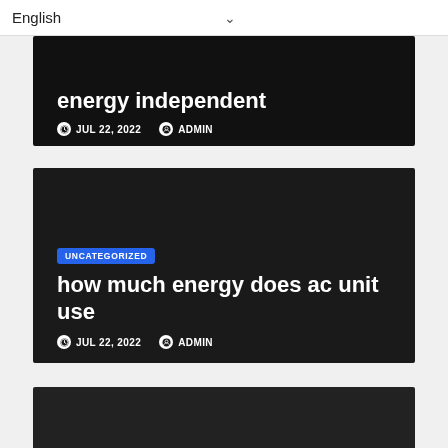English
energy independent
JUL 22, 2022  ADMIN
UNCATEGORIZED
how much energy does ac unit use
JUL 22, 2022  ADMIN